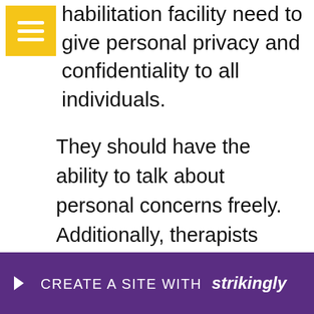habilitation facility need to give personal privacy and confidentiality to all individuals.
They should have the ability to talk about personal concerns freely. Additionally, therapists ought to not videotape information concerning the patient. If the individual is willing to talk about the concerns they are having with others, they will certainly really feel a lot more comfortable sharing their experiences. While the outpatient process is not the same as a household rehabilitation, it is still a wonderful choice for people struggling with drug... rehab is no... ently
[Figure (screenshot): Strikingly website builder promotional banner overlay with purple background, showing 'CREATE A SITE WITH strikingly' text]